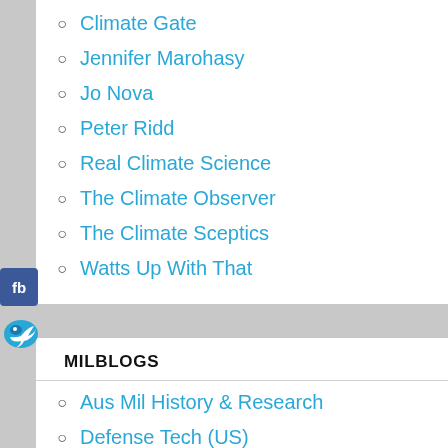Climate Gate
Jennifer Marohasy
Jo Nova
Peter Ridd
Real Climate Science
The Climate Observer
The Climate Sceptics
Watts Up With That
MILBLOGS
Aus Mil History & Research
Defense Tech (US)
OPFOR
Stormbringer
The Angry Staff Officer
The Aus Military Community
The Dew Line